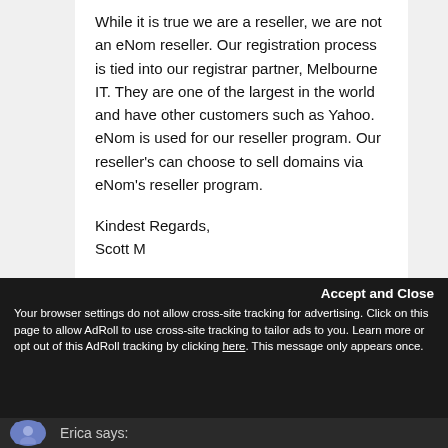While it is true we are a reseller, we are not an eNom reseller. Our registration process is tied into our registrar partner, Melbourne IT. They are one of the largest in the world and have other customers such as Yahoo. eNom is used for our reseller program. Our reseller's can choose to sell domains via eNom's reseller program.
Kindest Regards,
Scott M
Accept and Close
Your browser settings do not allow cross-site tracking for advertising. Click on this page to allow AdRoll to use cross-site tracking to tailor ads to you. Learn more or opt out of this AdRoll tracking by clicking here. This message only appears once.
Erica says: